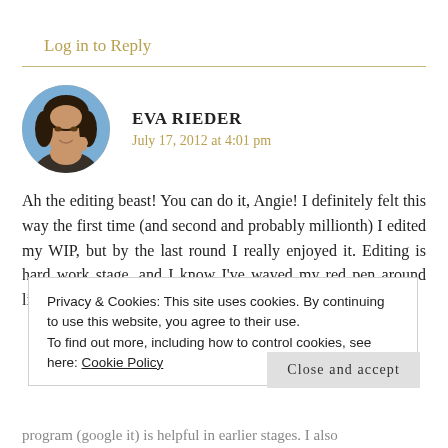Log in to Reply
EVA RIEDER
July 17, 2012 at 4:01 pm
[Figure (photo): Circular avatar photo of Eva Rieder, a woman with dark curly hair, smiling, outdoors with a blue-sky background.]
Ah the editing beast! You can do it, Angie! I definitely felt this way the first time (and second and probably millionth) I edited my WIP, but by the last round I really enjoyed it. Editing is hard work stage, and I know I've waved my red pen around like a crazed monkey until it
Privacy & Cookies: This site uses cookies. By continuing to use this website, you agree to their use.
To find out more, including how to control cookies, see here: Cookie Policy
Close and accept
program (google it) is helpful in earlier stages. I also